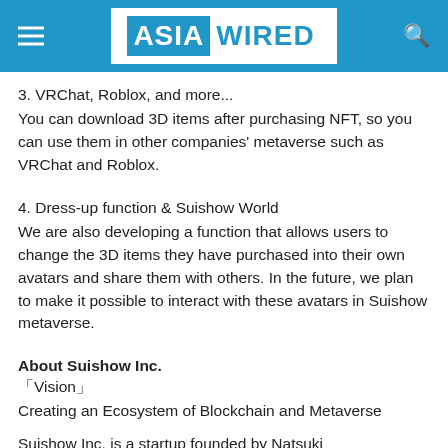ASIA WIRED
3. VRChat, Roblox, and more...
You can download 3D items after purchasing NFT, so you can use them in other companies' metaverse such as VRChat and Roblox.
4. Dress-up function & Suishow World
We are also developing a function that allows users to change the 3D items they have purchased into their own avatars and share them with others. In the future, we plan to make it possible to interact with these avatars in Suishow metaverse.
About Suishow Inc.
「Vision」
Creating an Ecosystem of Blockchain and Metaverse
Suishow Inc. is a startup founded by Natsuki